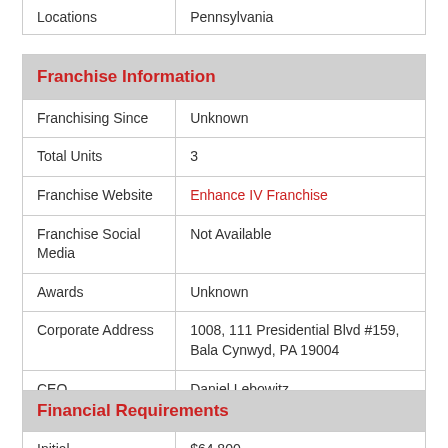|  |  |
| --- | --- |
| Locations | Pennsylvania |
| Franchise Information |  |
| --- | --- |
| Franchising Since | Unknown |
| Total Units | 3 |
| Franchise Website | Enhance IV Franchise |
| Franchise Social Media | Not Available |
| Awards | Unknown |
| Corporate Address | 1008, 111 Presidential Blvd #159, Bala Cynwyd, PA 19004 |
| CEO | Daniel Lebowitz |
| Financial Requirements |  |
| --- | --- |
| Initial | $64,800 |